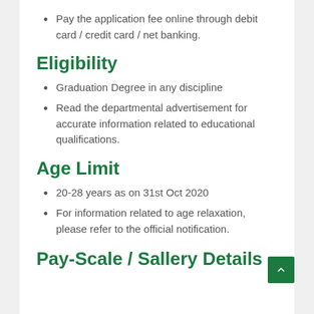Pay the application fee online through debit card / credit card / net banking.
Eligibility
Graduation Degree in any discipline
Read the departmental advertisement for accurate information related to educational qualifications.
Age Limit
20-28 years as on 31st Oct 2020
For information related to age relaxation, please refer to the official notification.
Pay-Scale / Sallery Details